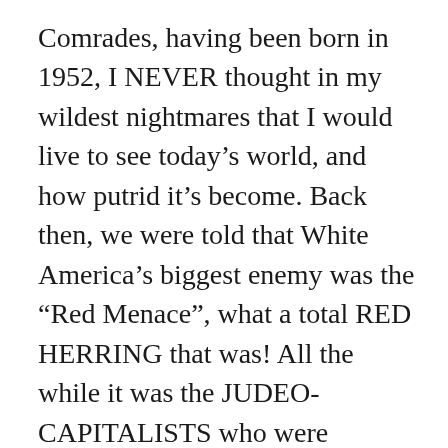Comrades, having been born in 1952, I NEVER thought in my wildest nightmares that I would live to see today’s world, and how putrid it’s become. Back then, we were told that White America’s biggest enemy was the “Red Menace”, what a total RED HERRING that was! All the while it was the JUDEO-CAPITALISTS who were bringing us to this point – NOT some “communist plot”. Yet, I still hear muttering amongst the reactionary, right wing today about “communists”! LOL Talk about the ENEMY within the GATE! They had us “looking over there”, while the real enemy was right behind us all the time!